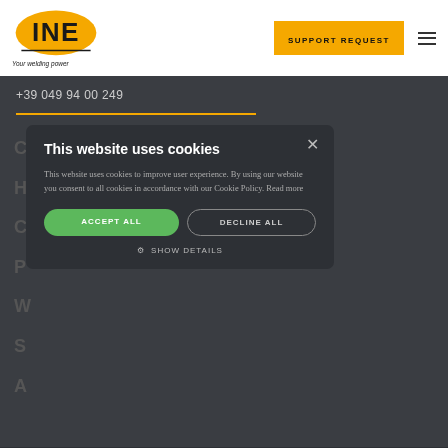[Figure (logo): INE logo — yellow oval with black INE text — and tagline 'Your welding power']
SUPPORT REQUEST
+39 049 94 00 249
This website uses cookies
This website uses cookies to improve user experience. By using our website you consent to all cookies in accordance with our Cookie Policy. Read more
ACCEPT ALL
DECLINE ALL
SHOW DETAILS